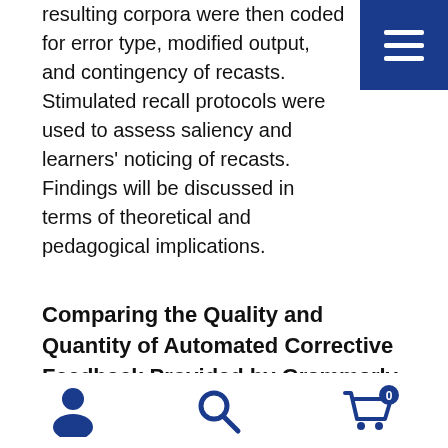resulting corpora were then coded for error type, modified output, and contingency of recasts. Stimulated recall protocols were used to assess saliency and learners' noticing of recasts. Findings will be discussed in terms of theoretical and pedagogical implications.
Comparing the Quality and Quantity of Automated Corrective Feedback Provided by Grammarly versus MS Word
Jim Ranalli, Iowa State University
[Figure (infographic): Hamburger menu icon (three white horizontal bars) on a dark blue square background, positioned top-right corner]
[Figure (infographic): Bottom navigation bar with three icons: user/person icon, search/magnifying glass icon, and shopping cart icon with badge showing '0']